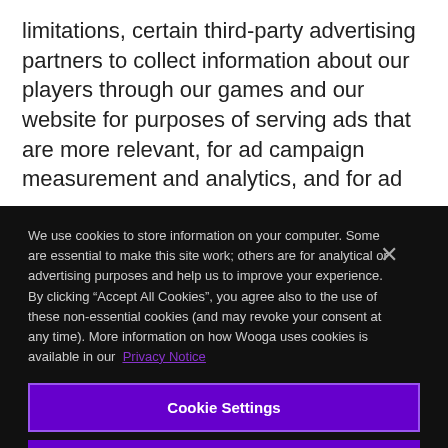limitations, certain third-party advertising partners to collect information about our players through our games and our website for purposes of serving ads that are more relevant, for ad campaign measurement and analytics, and for ad
We use cookies to store information on your computer. Some are essential to make this site work; others are for analytical or advertising purposes and help us to improve your experience. By clicking “Accept All Cookies”, you agree also to the use of these non-essential cookies (and may revoke your consent at any time). More information on how Wooga uses cookies is available in our Privacy Notice
Cookie Settings
Reject All Cookies
Accept All Cookies